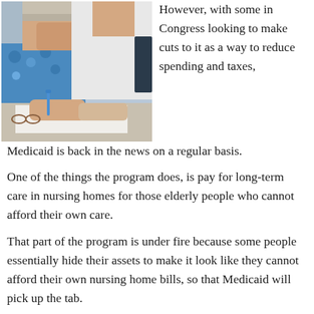[Figure (photo): Elderly person signing a document assisted by a caregiver, close-up of hands with pen on paper]
However, with some in Congress looking to make cuts to it as a way to reduce spending and taxes,
Medicaid is back in the news on a regular basis.
One of the things the program does, is pay for long-term care in nursing homes for those elderly people who cannot afford their own care.
That part of the program is under fire because some people essentially hide their assets to make it look like they cannot afford their own nursing home bills, so that Medicaid will pick up the tab.
Recently, The New York Times looked at the debate over the